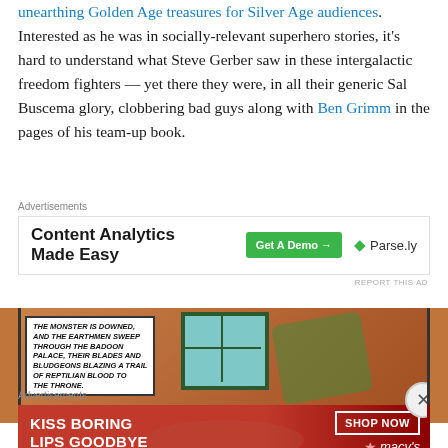Thomas' line of work, who delighted in unearthing Golden Age treasures for Silver Age audiences. Interested as he was in socially-relevant superhero stories, it's hard to understand what Steve Gerber saw in these intergalactic freedom fighters — yet there they were, in all their generic Sal Buscema glory, clobbering bad guys along with Ben Grimm in the pages of his team-up book.
[Figure (infographic): Advertisement banner: Content Analytics Made Easy with Get A Demo button and Parse.ly logo]
[Figure (illustration): Comic book panel showing action scene with caption text: 'The monster is downed, and the earthmen sweep through the Badoon palace, their blades and bludgeons blazing a trail of reptilian blood to the throne.']
[Figure (infographic): Advertisement banner: Kiss Boring Lips Goodbye - Shop Now - Macy's, red background with woman's face]